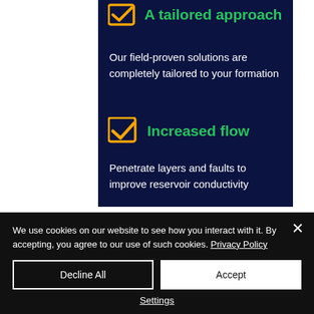[Figure (illustration): Yellow checkbox icon with checkmark, partially cut off at top with green text 'A tailored approach' (truncated)]
Our field-proven solutions are completely tailored to your formation
[Figure (illustration): Yellow checkbox icon with checkmark next to green bold text 'Increased flow']
Penetrate layers and faults to improve reservoir conductivity
We use cookies on our website to see how you interact with it. By accepting, you agree to our use of such cookies. Privacy Policy
Decline All
Accept
Settings